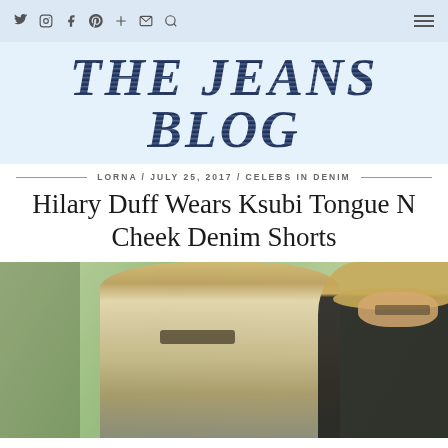Twitter / Instagram / Facebook / Pinterest / Google+ / Email / Search | Menu
[Figure (logo): The Jeans Blog logo in large denim-textured serif text]
LORNA / JULY 25, 2017 / CELEBS IN DENIM
Hilary Duff Wears Ksubi Tongue N Cheek Denim Shorts
[Figure (photo): Hilary Duff wearing denim shorts outdoors, walking with another person wearing a hat]